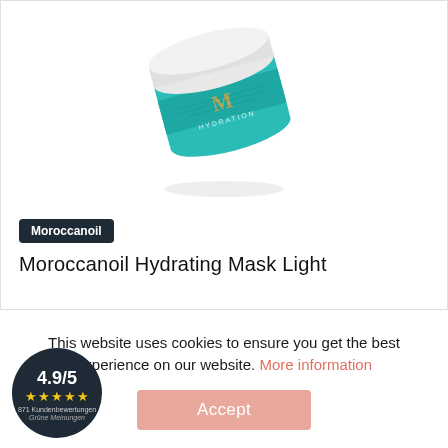[Figure (photo): Moroccanoil Hydrating Mask Light product jar — white lid, teal/turquoise body with gold M logo, slightly tilted]
Moroccanoil
Moroccanoil Hydrating Mask Light
This website uses cookies to ensure you get the best experience on our website. More information
[Figure (other): Rating badge: 4.9/5 with 5 gold stars, 871 Kundenbewertungen, Grüne Meinungen logo]